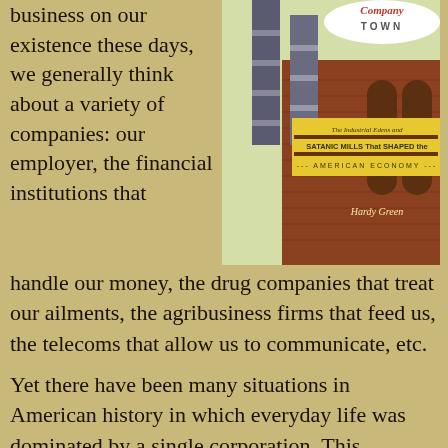business on our existence these days, we generally think about a variety of companies: our employer, the financial institutions that handle our money, the drug companies that treat our ailments, the agribusiness firms that feed us, the telecoms that allow us to communicate, etc.
[Figure (illustration): Book cover of 'Company Town' by Hardy Green — The Industrial Edens and Satanic Mills That Shaped the American Economy. Shows industrial smokestacks against a brick building.]
Yet there have been many situations in American history in which everyday life was dominated by a single corporation. This